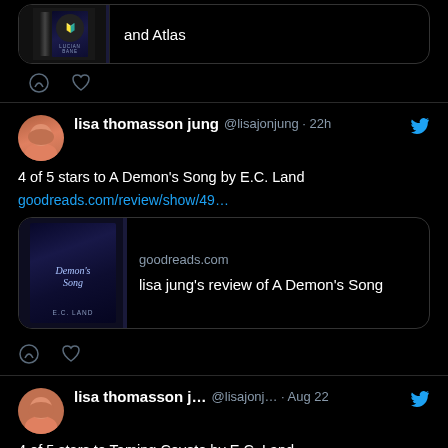[Figure (screenshot): Partial Twitter/X tweet showing a book link card with text 'and Atlas' at top]
[Figure (screenshot): Twitter/X tweet by lisa thomasson jung @lisajonjung 22h: '4 of 5 stars to A Demon's Song by E.C. Land' with goodreads link and book cover card for 'Demon's Song' by E.C. Land showing lisa jung's review]
[Figure (screenshot): Partial Twitter/X tweet by lisa thomasson j... @lisajonj... Aug 22: '4 of 5 stars to Taming Coyote by E.C. Land' with goodreads.com/review/show/35...]
Advertisements
[Figure (screenshot): Advertisement banner for DAY ONE journaling app: 'The only journaling app you'll ever need.']